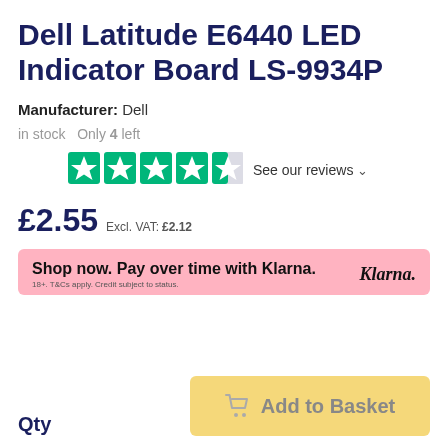Dell Latitude E6440 LED Indicator Board LS-9934P
Manufacturer: Dell
in stock  Only 4 left
[Figure (other): Trustpilot star rating: 4.5 out of 5 green stars, with 'See our reviews' link]
£2.55 Excl. VAT: £2.12
Shop now. Pay over time with Klarna. 18+. T&Cs apply. Credit subject to status.
Qty
Add to Basket